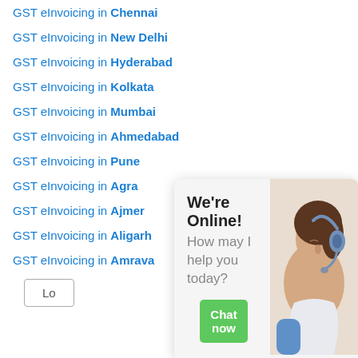GST eInvoicing in Chennai
GST eInvoicing in New Delhi
GST eInvoicing in Hyderabad
GST eInvoicing in Kolkata
GST eInvoicing in Mumbai
GST eInvoicing in Ahmedabad
GST eInvoicing in Pune
GST eInvoicing in Agra
GST eInvoicing in Ajmer
GST eInvoicing in Aligarh
GST eInvoicing in Amrava...
Lo...
[Figure (screenshot): Live chat widget with 'We're Online!' title, 'How may I help you today?' subtitle, a green 'Chat now' button, and a photo of a woman with headset on the right side.]